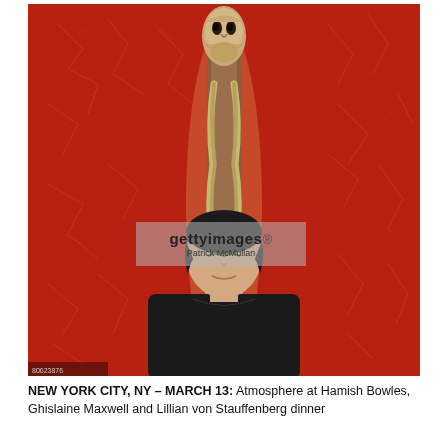[Figure (photo): A young man with dark hair wearing a black shirt stands in front of a red crackle-textured wall. Above him is a tall decorative sculpture or artwork featuring an elongated face/head with long braided strands hanging down. A Getty Images watermark with 'Patrick McMullan' credit is overlaid in the center of the image. A small image ID number appears at the bottom left of the photo.]
NEW YORK CITY, NY – MARCH 13: Atmosphere at Hamish Bowles, Ghislaine Maxwell and Lillian von Stauffenberg dinner